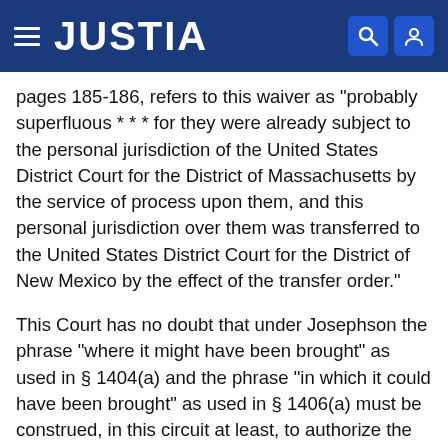JUSTIA
pages 185-186, refers to this waiver as "probably superfluous * * * for they were already subject to the personal jurisdiction of the United States District Court for the District of Massachusetts by the service of process upon them, and this personal jurisdiction over them was transferred to the United States District Court for the District of New Mexico by the effect of the transfer order."
This Court has no doubt that under Josephson the phrase "where it might have been brought" as used in § 1404(a) and the phrase "in which it could have been brought" as used in § 1406(a) must be construed, in this circuit at least, to authorize the transfer of an action, under the circumstances set forth in these sections, to the district court of any judicial district having jurisdiction over the subject matter and proper venue,